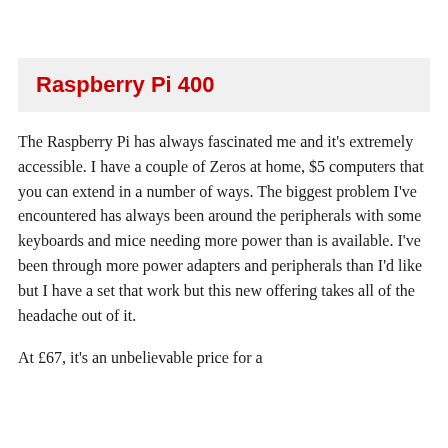Raspberry Pi 400
The Raspberry Pi has always fascinated me and it's extremely accessible. I have a couple of Zeros at home, $5 computers that you can extend in a number of ways. The biggest problem I've encountered has always been around the peripherals with some keyboards and mice needing more power than is available. I've been through more power adapters and peripherals than I'd like but I have a set that work but this new offering takes all of the headache out of it.
At £67, it's an unbelievable price for a